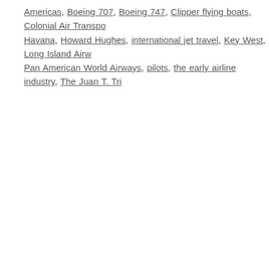Americas, Boeing 707, Boeing 747, Clipper flying boats, Colonial Air Transport, Havana, Howard Hughes, international jet travel, Key West, Long Island Airw…, Pan American World Airways, pilots, the early airline industry, The Juan T. Tri…